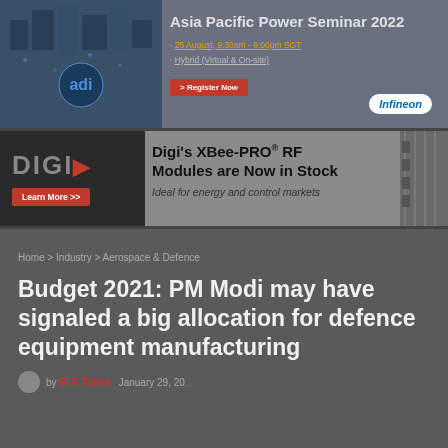[Figure (advertisement): Infineon Asia Pacific Power Seminar 2022 banner advertisement. Shows event date 25 August, 9:30am - 6:00pm SGT, Hybrid (Virtual & On-site), with a Register Now button and Infineon logo.]
[Figure (advertisement): Digi XBee-PRO RF Modules advertisement. Shows Digi logo on left with Learn More button, and headline: Digi's XBee-PRO RF Modules are Now in Stock. Ideal for energy and control markets.]
Home > Industry > Aerospace & Defence
Budget 2021: PM Modi may have signaled a big allocation for defence equipment manufacturing
by ELE Times   January 29, 2021